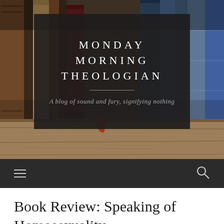[Figure (photo): Background photo of old leather-bound books on a shelf with wooden surface, with a dark semi-transparent overlay box containing the site title and tagline]
MONDAY MORNING THEOLOGIAN
A blog of sound and fury, signifying nothing
Navigation bar with hamburger menu icon and search icon
Book Review: Speaking of Homosexuality